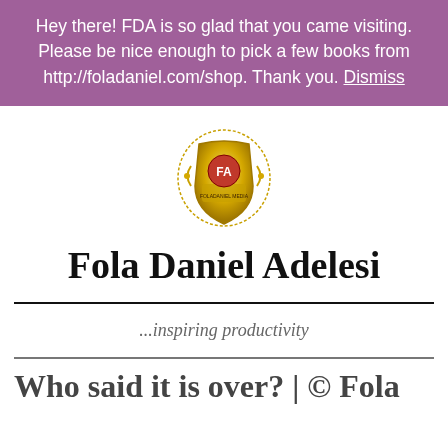Hey there! FDA is so glad that you came visiting. Please be nice enough to pick a few books from http://foladaniel.com/shop. Thank you. Dismiss
[Figure (logo): Fola Daniel Adelesi gold crest/shield logo with red circular emblem in center]
Fola Daniel Adelesi
...inspiring productivity
Who said it is over? | © Fola